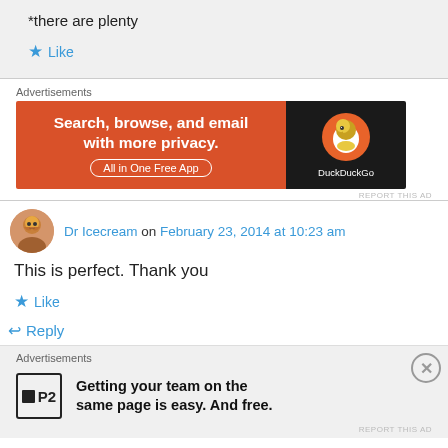*there are plenty
Like
Advertisements
[Figure (other): DuckDuckGo advertisement banner: orange section with text 'Search, browse, and email with more privacy. All in One Free App' and dark section with DuckDuckGo duck logo]
REPORT THIS AD
Dr Icecream on February 23, 2014 at 10:23 am
This is perfect. Thank you
Like
Reply
Advertisements
[Figure (other): P2 advertisement: P2 logo with text 'Getting your team on the same page is easy. And free.']
REPORT THIS AD